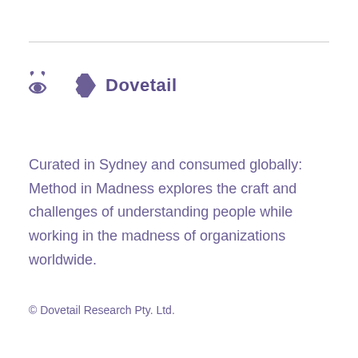[Figure (logo): Dovetail logo with eye icon and arrow/dovetail icon followed by the word Dovetail in bold purple text]
Curated in Sydney and consumed globally: Method in Madness explores the craft and challenges of understanding people while working in the madness of organizations worldwide.
© Dovetail Research Pty. Ltd.